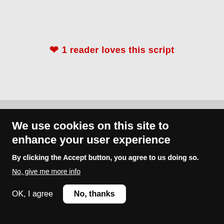❤ 1 reader loves this script
[Figure (photo): Young woman with glasses and brown hair looking sideways, framed with purple corner brackets on a light yellow background]
We use cookies on this site to enhance your user experience
By clicking the Accept button, you agree to us doing so.
No, give me more info
OK, I agree
No, thanks